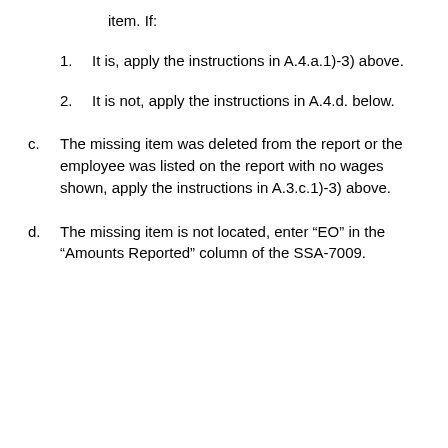item. If:
1.  It is, apply the instructions in A.4.a.1)-3) above.
2.  It is not, apply the instructions in A.4.d. below.
c.  The missing item was deleted from the report or the employee was listed on the report with no wages shown, apply the instructions in A.3.c.1)-3) above.
d.  The missing item is not located, enter “EO” in the “Amounts Reported” column of the SSA-7009.